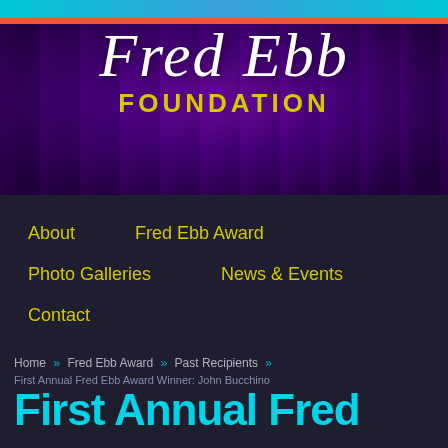Fred Ebb Foundation
[Figure (logo): Fred Ebb Foundation logo with script 'Fred Ebb' text and 'FOUNDATION' in yellow block letters on purple curtain background]
About
Fred Ebb Award
Photo Galleries
News & Events
Contact
Home » Fred Ebb Award » Past Recipients »
First Annual Fred Ebb Award Winner: John Bucchino
First Annual Fred